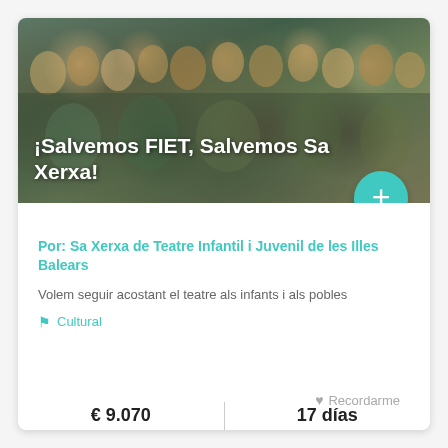[Figure (photo): Group photo of children and adults smiling and waving, used as hero banner image for the crowdfunding campaign ¡Salvemos FIET, Salvemos Sa Xerxa!]
¡Salvemos FIET, Salvemos Sa Xerxa!
Por: Sa Xerxa de Teatre Infantil i Juvenil de les Illes Balears
Volem seguir acostant el teatre als infants i als pobles
Cultural
€ 9.070 conseguido
17 días quedan
56% Financiado
Recordarme